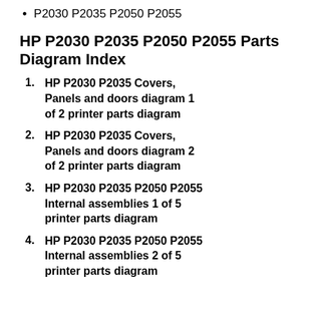P2030 P2035 P2050 P2055
HP P2030 P2035 P2050 P2055 Parts Diagram Index
1. HP P2030 P2035 Covers, Panels and doors diagram 1 of 2 printer parts diagram
2. HP P2030 P2035 Covers, Panels and doors diagram 2 of 2 printer parts diagram
3. HP P2030 P2035 P2050 P2055 Internal assemblies 1 of 5 printer parts diagram
4. HP P2030 P2035 P2050 P2055 Internal assemblies 2 of 5 printer parts diagram